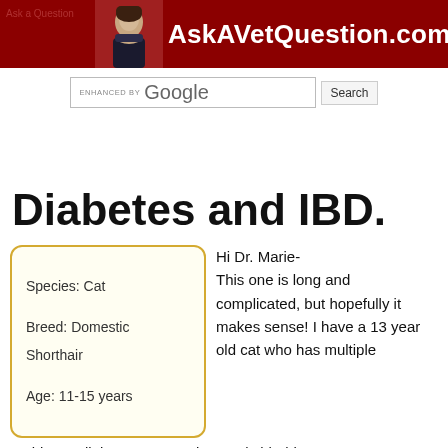AskAVetQuestion.com
Diabetes and IBD.
Species: Cat
Breed: Domestic Shorthair
Age: 11-15 years
Hi Dr. Marie- This one is long and complicated, but hopefully it makes sense! I have a 13 year old cat who has multiple problems: diabetes, IBD and recently bladder stones. Two